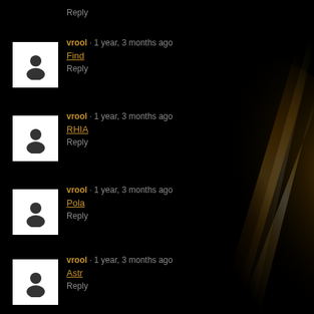Reply (partial, top cut off)
vrool · 1 year, 3 months ago
Find
Reply
vrool · 1 year, 3 months ago
RHIA
Reply
vrool · 1 year, 3 months ago
Pola
Reply
vrool · 1 year, 3 months ago
Astr
Reply
vrool · 1 year, 3 months ago
Bian
Reply